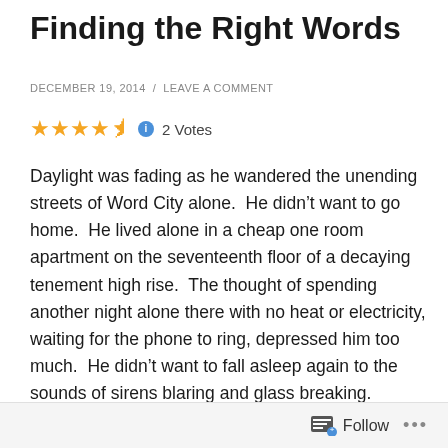Finding the Right Words
DECEMBER 19, 2014  /  LEAVE A COMMENT
2 Votes
Daylight was fading as he wandered the unending streets of Word City alone.  He didn’t want to go home.  He lived alone in a cheap one room apartment on the seventeenth floor of a decaying tenement high rise.  The thought of spending another night alone there with no heat or electricity, waiting for the phone to ring, depressed him too much.  He didn’t want to fall asleep again to the sounds of sirens blaring and glass breaking.  Instead, Idiolectal kept walking.  From the park he could see the brilliant high rises and architectural wonders of the east side, where the rich and powerful, the
Follow ...